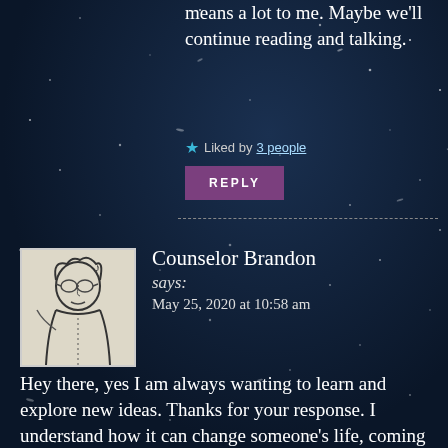means a lot to me. Maybe we'll continue reading and talking.
★ Liked by 3 people
REPLY
Counselor Brandon says: May 25, 2020 at 10:58 am
[Figure (illustration): Hand-drawn sketch avatar of a person with glasses and curly hair]
Hey there, yes I am always wanting to learn and explore new ideas. Thanks for your response. I understand how it can change someone's life, coming to Jesus but I think perhaps surrendering ourselves to the high